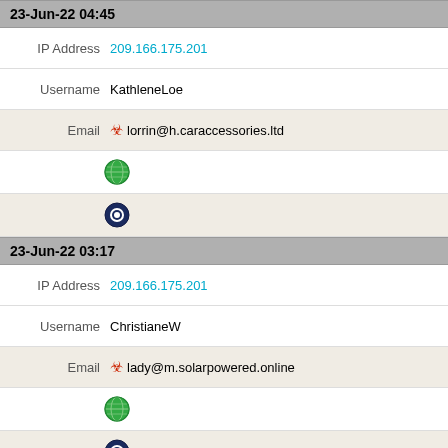23-Jun-22 04:45
IP Address  209.166.175.201
Username  KathleneLoe
Email  lorrin@h.caraccessories.ltd
[Figure (illustration): Green globe icon]
[Figure (illustration): Dark blue OS/browser icon]
23-Jun-22 03:17
IP Address  209.166.175.201
Username  ChristianeW
Email  lady@m.solarpowered.online
[Figure (illustration): Green globe icon]
[Figure (illustration): Dark blue OS/browser icon]
23-Jun-22 02:50
IP Address  209.166.175.201
Username  JeffereySuu
Email  jeffereyzamora@nbv.estabbi.com
[Figure (illustration): Green globe icon]